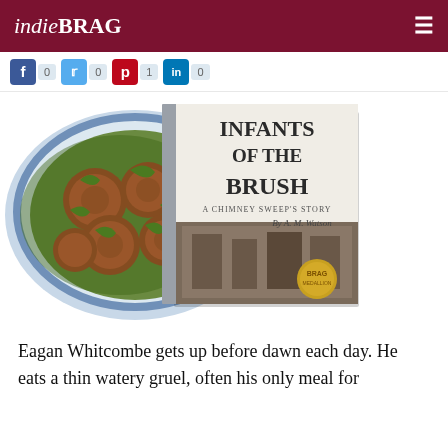indieBRAG
[Figure (screenshot): Social share bar with Facebook (0), Twitter (0), Pinterest (1), LinkedIn (0) icons and counts]
[Figure (photo): Composite image showing a tomato salad on a blue plate on the left, and a book cover for 'Infants of the Brush: A Chimney Sweep's Story by A. M. Watson' with a BRAG medallion on the right]
Eagan Whitcombe gets up before dawn each day. He eats a thin watery gruel, often his only meal for